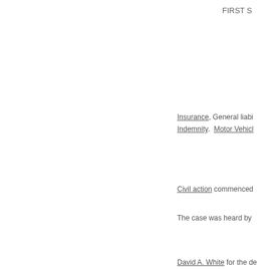FIRST S
Insurance, General liabi Indemnity.  Motor Vehicl
Civil action commenced
The case was heard by
David A. White for the de